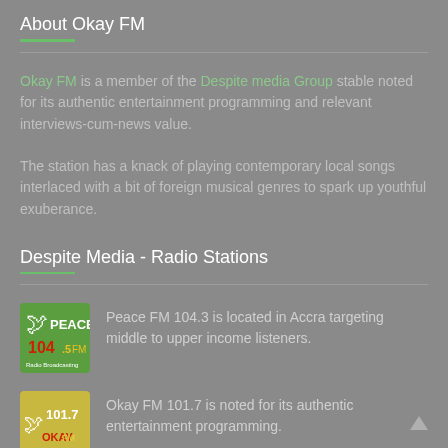About Okay FM
Okay FM is a member of the Despite media Group stable noted for its authentic entertainment programming and relevant interviews-cum-news value.
The station has a knack of playing contemporary local songs interlaced with a bit of foreign musical genres to spark up youthful exuberance.
Despite Media - Radio Stations
[Figure (logo): Peace FM 104.3 logo - green background with white dove and red/yellow text]
Peace FM 104.3 is located in Accra targeting middle to upper income listeners.
[Figure (logo): Okay FM 101.7 logo - olive/yellow background with white and red text]
Okay FM 101.7 is noted for its authentic entertainment programming.